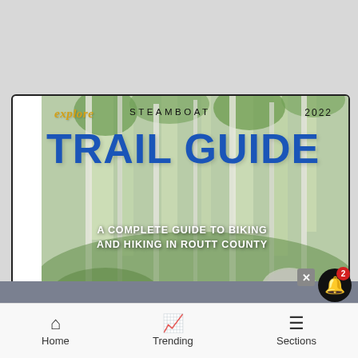[Figure (screenshot): Screenshot of a mobile browser showing the Explore Steamboat 2022 Trail Guide cover page. The cover features 'explore STEAMBOAT 2022' header, large blue 'TRAIL GUIDE' title, subtitle 'A COMPLETE GUIDE TO BIKING AND HIKING IN ROUTT COUNTY' over a forest background with aspen trees. A Victoria's Secret advertisement banner is shown at the bottom of the browser content. A notification bell with badge '2' and a close button are overlaid. The bottom of the screen shows a mobile navigation bar with Home, Trending, and Sections icons.]